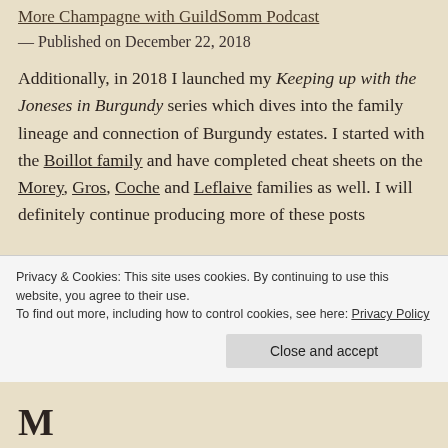More Champagne with GuildSomm Podcast
— Published on December 22, 2018
Additionally, in 2018 I launched my Keeping up with the Joneses in Burgundy series which dives into the family lineage and connection of Burgundy estates. I started with the Boillot family and have completed cheat sheets on the Morey, Gros, Coche and Leflaive families as well. I will definitely continue producing more of these posts
Privacy & Cookies: This site uses cookies. By continuing to use this website, you agree to their use.
To find out more, including how to control cookies, see here: Privacy Policy
Close and accept
M